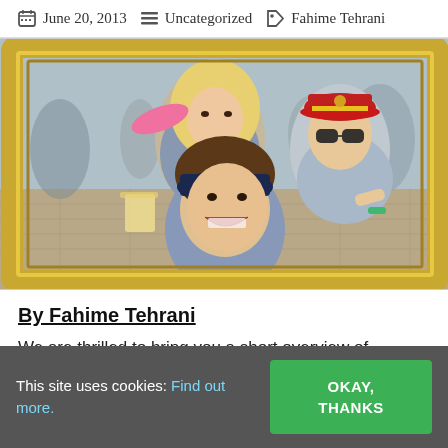June 20, 2013   Uncategorized   Fahime Tehrani
[Figure (photo): Three young festival-goers posing playfully through a large golden picture frame at an outdoor event. A blonde woman stands behind the frame, a curly-haired young man leans forward at the bottom, and another man wearing a red captain's hat and sunglasses poses to the right.]
By Fahime Tehrani
We are thrilled to bring you a short overview of Budapest
This site uses cookies: Find out more.   OKAY, THANKS